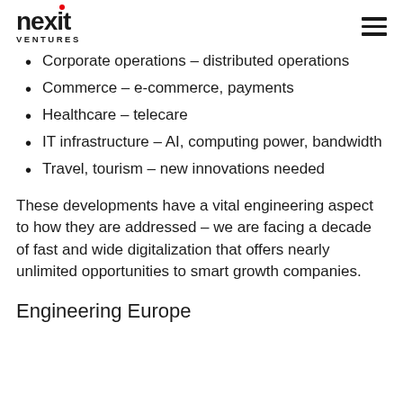nexit VENTURES
Corporate operations – distributed operations
Commerce – e-commerce, payments
Healthcare – telecare
IT infrastructure – AI, computing power, bandwidth
Travel, tourism – new innovations needed
These developments have a vital engineering aspect to how they are addressed – we are facing a decade of fast and wide digitalization that offers nearly unlimited opportunities to smart growth companies.
Engineering Europe